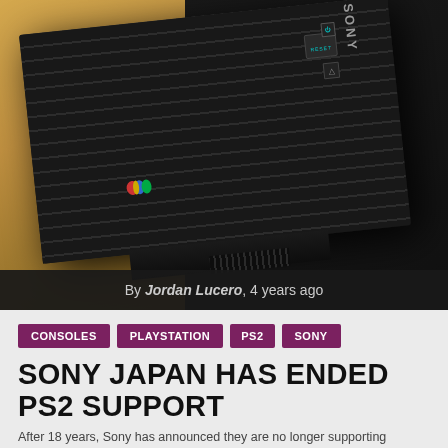[Figure (photo): Close-up photograph of a Sony PlayStation 2 (PS2) console, black with ribbed ventilation slots, PlayStation logo visible, shown at an angle against a golden/tan background. Buttons and SONY branding visible on the side.]
By Jordan Lucero, 4 years ago
CONSOLES
PLAYSTATION
PS2
SONY
SONY JAPAN HAS ENDED PS2 SUPPORT
After 18 years, Sony has announced they are no longer supporting